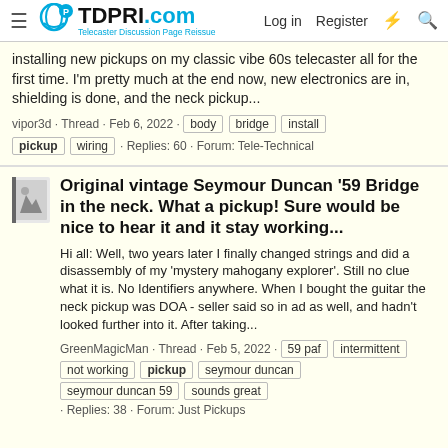TDPRI.com Telecaster Discussion Page Reissue — Log in | Register
installing new pickups on my classic vibe 60s telecaster all for the first time. I'm pretty much at the end now, new electronics are in, shielding is done, and the neck pickup...
vipor3d · Thread · Feb 6, 2022 · body  bridge  install  pickup  wiring · Replies: 60 · Forum: Tele-Technical
Original vintage Seymour Duncan '59 Bridge in the neck. What a pickup! Sure would be nice to hear it and it stay working...
Hi all: Well, two years later I finally changed strings and did a disassembly of my 'mystery mahogany explorer'. Still no clue what it is. No Identifiers anywhere. When I bought the guitar the neck pickup was DOA - seller said so in ad as well, and hadn't looked further into it. After taking...
GreenMagicMan · Thread · Feb 5, 2022 · 59 paf  intermittent  not working  pickup  seymour duncan  seymour duncan 59  sounds great · Replies: 38 · Forum: Just Pickups